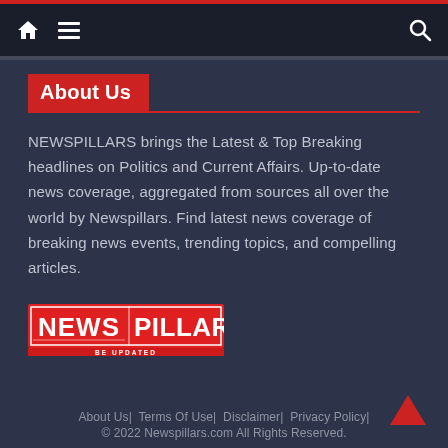Navigation bar with home icon, hamburger menu, and search icon
About Us
NEWSPILLARS brings the Latest & Top Breaking headlines on Politics and Current Affairs. Up-to-date news coverage, aggregated from sources all over the world by Newspillars. Find latest news coverage of breaking news events, trending topics, and compelling articles.
[Figure (logo): NewsPillars logo: red background with white text NEWS and PILLARS, subtitle BE UPDATED]
About Us| Terms Of Use| Disclaimer| Privacy Policy| © 2022 Newspillars.com All Rights Reserved.